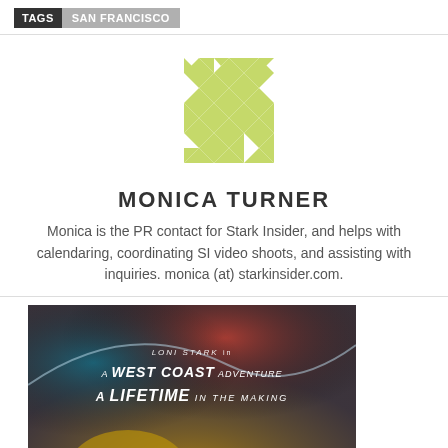TAGS  SAN FRANCISCO
[Figure (logo): Decorative geometric logo with lime green diamond and triangle shapes arranged in a square grid pattern]
MONICA TURNER
Monica is the PR contact for Stark Insider, and helps with calendaring, coordinating SI video shoots, and assisting with inquiries. monica (at) starkinsider.com.
[Figure (photo): Movie poster style image with colorful cosmic background showing text: LONI STARK in A WEST COAST ADVENTURE A LIFETIME IN THE MAKING, with a silhouetted figure below]